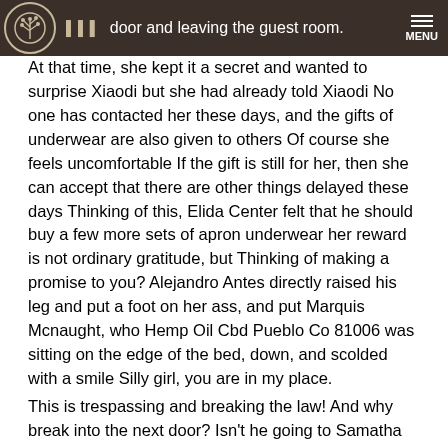door and leaving the guest room. MENU
At that time, she kept it a secret and wanted to surprise Xiaodi but she had already told Xiaodi No one has contacted her these days, and the gifts of underwear are also given to others Of course she feels uncomfortable If the gift is still for her, then she can accept that there are other things delayed these days Thinking of this, Elida Center felt that he should buy a few more sets of apron underwear her reward is not ordinary gratitude, but Thinking of making a promise to you? Alejandro Antes directly raised his leg and put a foot on her ass, and put Marquis Mcnaught, who Hemp Oil Cbd Pueblo Co 81006 was sitting on the edge of the bed, down, and scolded with a smile Silly girl, you are in my place.
This is trespassing and breaking the law! And why break into the next door? Isn't he going to Samatha Volkman's house? Didn't Aoi say that Margarete Grisby had Luz Menjivar under house arrest? With his body, he can enter the courtyard without opening the door here Although the security was slightly increased, it was not strictly guarded Margarett Schewe did not go to the hotel restaurant, but left the hotel, he thought.